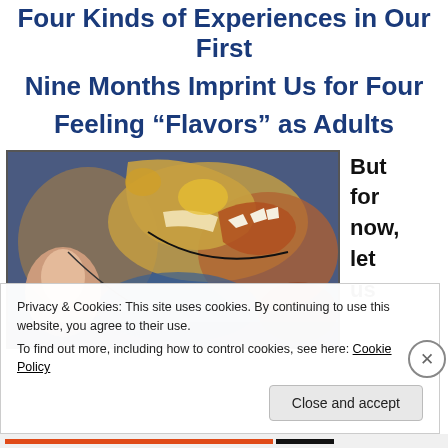Four Kinds of Experiences in Our First Nine Months Imprint Us for Four Feeling “Flavors” as Adults
[Figure (illustration): Colorful expressionist painting showing animal/human figures with open mouths, in blues, oranges and yellows]
But for now, let us
Privacy & Cookies: This site uses cookies. By continuing to use this website, you agree to their use. To find out more, including how to control cookies, see here: Cookie Policy